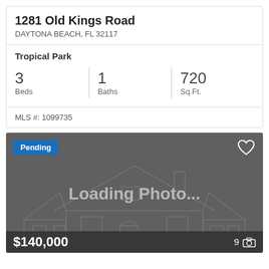1281 Old Kings Road
DAYTONA BEACH, FL 32117
Tropical Park
3 Beds | 1 Baths | 720 Sq.Ft.
MLS #: 1099735
[Figure (photo): Property listing image placeholder showing 'Loading Photo...' with a house outline silhouette on dark grey background. Pending badge in top-left, heart icon top-right, price $140,000 and photo count 9 at bottom.]